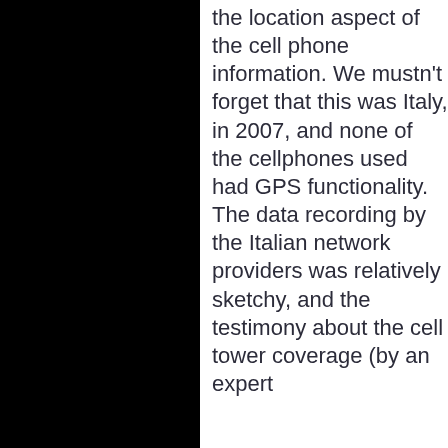the location aspect of the cell phone information. We mustn't forget that this was Italy, in 2007, and none of the cellphones used had GPS functionality. The data recording by the Italian network providers was relatively sketchy, and the testimony about the cell tower coverage (by an expert